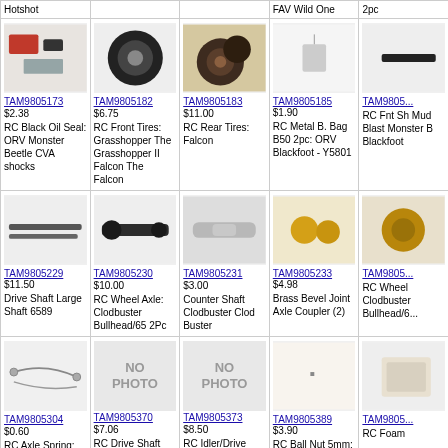| TAM9805173 $2.38 RC Black Oil Seal: ORV Monster Beetle CVA shocks | TAM9805182 $6.75 RC Front Tires: Grasshopper The Grasshopper II Falcon The Falcon | TAM9805183 $11.00 RC Rear Tires: Falcon | TAM9805185 $1.90 RC Metal B. Bag B50 2pc: ORV Blackfoot - Y5801 | TAM9805... RC Fnt Sh Mud Blast Monster B Blackfoot |
| TAM9805229 $11.50 Drive Shaft Large Shaft 6589 | TAM9805230 $10.00 RC Wheel Axle: Clodbuster Bullhead/65 2Pc | TAM9805231 $3.00 Counter Shaft Clodbuster Clod Buster | TAM9805233 $4.98 Brass Bevel Joint Axle Coupler (2) | TAM9805... RC Wheel Clodbuster Bullhead/6... |
| TAM9805304 $0.60 RC Axle Spring: Grasshopper Super Hornet The Grasshopper II 2pc | TAM9805370 $7.06 RC Drive Shaft Bag: Stadium Blitzer Bear Hawk DF-01 Manta Ray | TAM9805373 $8.50 RC Idler/Drive Gear: TA01 Michelin Pilot Cosworth Axia Skyline | TAM9805389 $3.90 RC Ball Nut 5mm: Astute Super Astute - X10556 | TAM9805... RC Foam |
| TAM9805458 $9.76 RC Diff Shaft (A & B): 1/14 Truck Mercedes Benz 1850L/05 | TAM9805469 $2.00 RC Shaft Bag: FF-01 Honda Jaccs Accord (Ltd. Ed.)/186/183 | TAM9805476 $18.00 RC Rear Tire (2): F103 Piaa Reynard 97 | TAM9805481 $18.00 RC Tire (2): TA02 Toyota Prerunner/132 | TAM9805... $12.50 RC Diff Co CC-01 (X0) CR-V Spo Utility/16... |